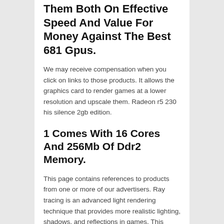Them Both On Effective Speed And Value For Money Against The Best 681 Gpus.
We may receive compensation when you click on links to those products. It allows the graphics card to render games at a lower resolution and upscale them. Radeon r5 230 his silence 2gb edition.
1 Comes With 16 Cores And 256Mb Of Ddr2 Memory.
This page contains references to products from one or more of our advertisers. Ray tracing is an advanced light rendering technique that provides more realistic lighting, shadows, and reflections in games. This allows you to configure multiple monitors in order to create a more immersive gaming experience, such as having a wider field of view.